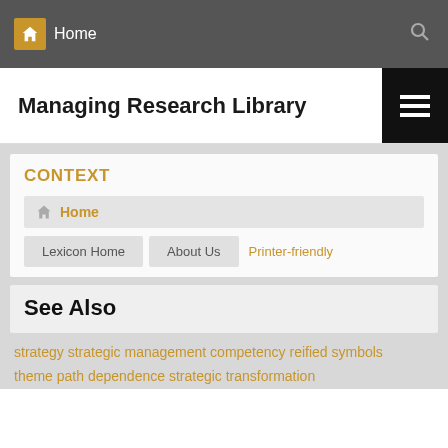Home
Managing Research Library
CONTEXT
Home
Lexicon Home   About Us   Printer-friendly
See Also
strategy strategic management competency reified symbols theme path dependence strategic transformation